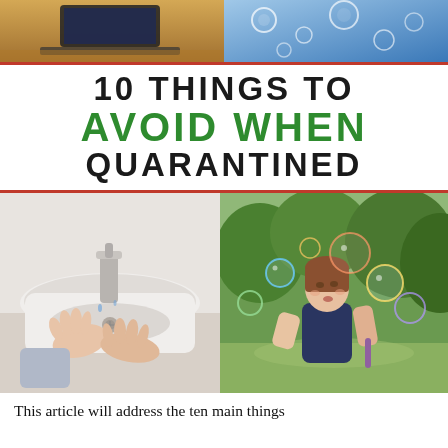[Figure (photo): Two side-by-side photos at top: left shows a laptop on a wooden desk; right shows bubbles or water droplets on a blue background]
10 THINGS TO AVOID WHEN QUARANTINED
[Figure (photo): Two side-by-side photos: left shows hands being washed at a white sink with a faucet; right shows a young child blowing bubbles outdoors in a park]
This article will address the ten main things